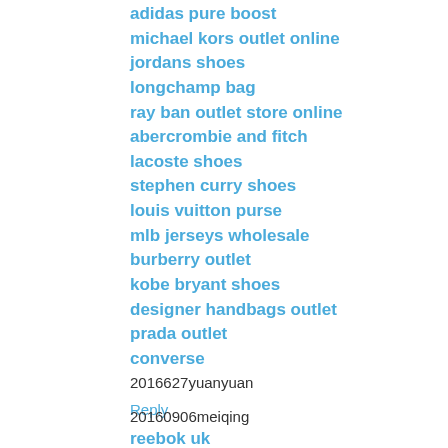adidas pure boost
michael kors outlet online
jordans shoes
longchamp bag
ray ban outlet store online
abercrombie and fitch
lacoste shoes
stephen curry shoes
louis vuitton purse
mlb jerseys wholesale
burberry outlet
kobe bryant shoes
designer handbags outlet
prada outlet
converse
2016627yuanyuan
Reply
xumeiqing   September 6, 2016 at 1:02 AM
20160906meiqing
reebok uk